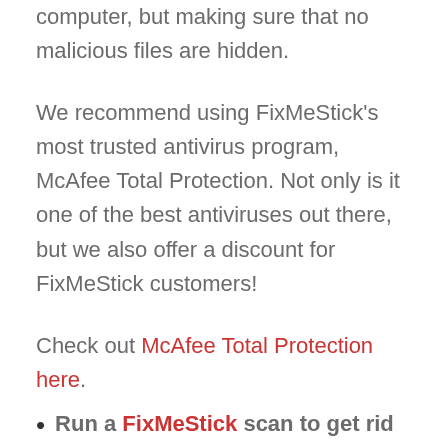computer, but making sure that no malicious files are hidden.
We recommend using FixMeStick's most trusted antivirus program, McAfee Total Protection. Not only is it one of the best antiviruses out there, but we also offer a discount for FixMeStick customers!
Check out McAfee Total Protection here.
Run a FixMeStick scan to get rid of any lingering malware – No matter strong your antivirus is, malware will always find a way onto your computer.